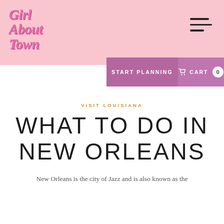Girl About Town
VISIT LOUISIANA
WHAT TO DO IN NEW ORLEANS
New Orleans is the city of Jazz and is also known as the